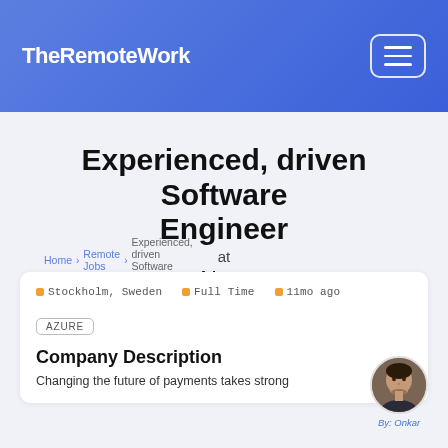TheRemoteWork
Home › Remote Jobs › Experienced, driven Software Engineer
Experienced, driven Software Engineer
at
Nets
📍 Stockholm, Sweden  📍 Full Time  📍 11mo ago
AZURE
Company Description
Changing the future of payments takes strong